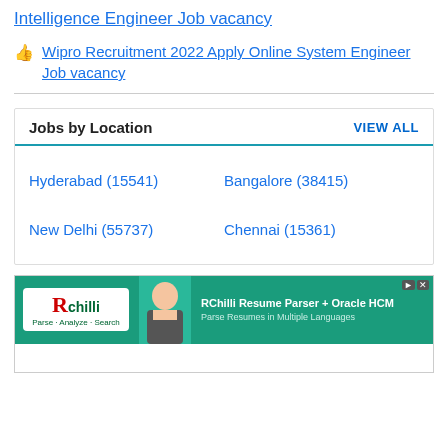Intelligence Engineer Job vacancy
👉  Wipro Recruitment 2022 Apply Online System Engineer Job vacancy
| Jobs by Location | VIEW ALL |
| --- | --- |
| Hyderabad (15541) | Bangalore (38415) |
| New Delhi (55737) | Chennai (15361) |
[Figure (infographic): RChilli Resume Parser + Oracle HCM advertisement banner with logo and woman photo]